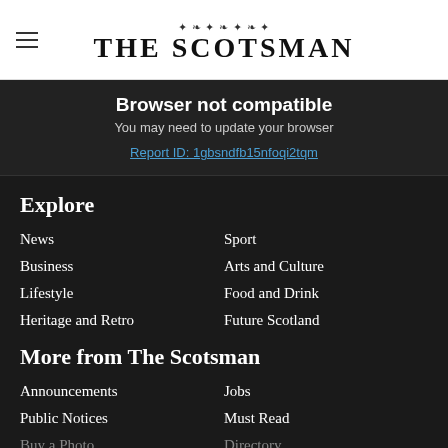[Figure (logo): The Scotsman newspaper logo with ornamental header and bold serif text]
Browser not compatible
You may need to update your browser
Report ID: 1gbsndfb15nfoqi2tqm
Explore
News
Sport
Business
Arts and Culture
Lifestyle
Food and Drink
Heritage and Retro
Future Scotland
More from The Scotsman
Announcements
Jobs
Public Notices
Must Read
Buy a Photo
Directory
Conferences
The Scotsman Archive